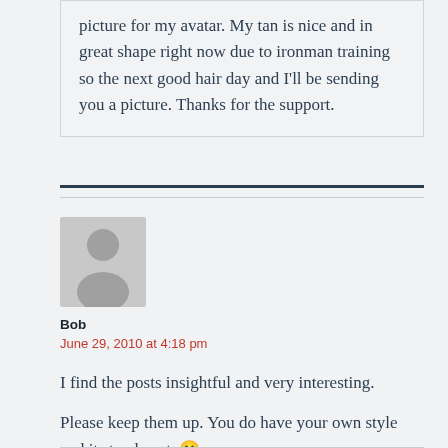Thanks Francois! I'm about to give you a new picture for my avatar. My tan is nice and in great shape right now due to ironman training so the next good hair day and I'll be sending you a picture. Thanks for the support.
[Figure (illustration): Generic grey avatar placeholder image showing a silhouette of a person]
Bob
June 29, 2010 at 4:18 pm
I find the posts insightful and very interesting.

Please keep them up. You do have your own style and it stands out. 🙂